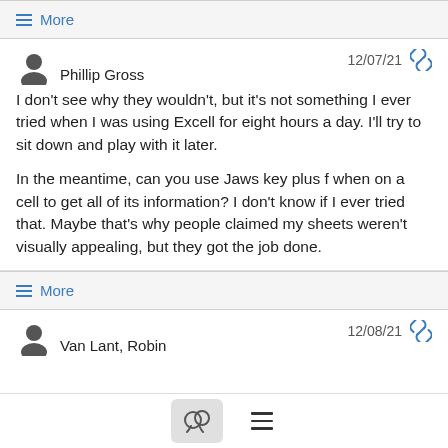≡ More
Phillip Gross
12/07/21
I don't see why they wouldn't, but it's not something I ever tried when I was using Excell for eight hours a day. I'll try to sit down and play with it later.

In the meantime, can you use Jaws key plus f when on a cell to get all of its information? I don't know if I ever tried that. Maybe that's why people claimed my sheets weren't visually appealing, but they got the job done.
≡ More
Van Lant, Robin
12/08/21